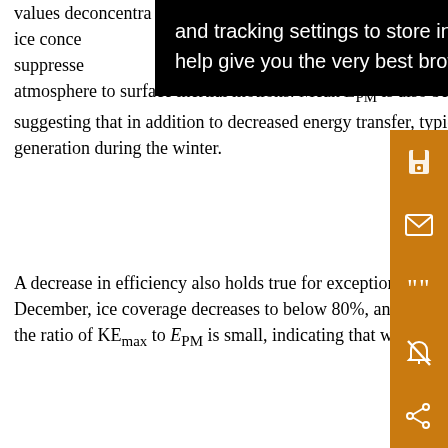values dec... concentra... when ice conce... suppresse... atmosphere to surface inertial motions. Mean E_PM is also below average when ice concentrations are below 90% (not shown), suggesting that in addition to decreased energy transfer, typically less atmospheric energy is available for near-inertial wave generation during the winter.
A decrease in efficiency also holds true for exceptionally strong winter storms, such as the December event. On 10 and 16 December, ice coverage decreases to below 80%, and decay scales are longer, 8.6 days, even longer than ice-free periods. However, the ratio of KE_max to E_PM is small, indicating that when scaled against the other flux